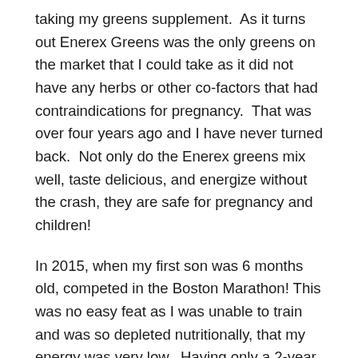taking my greens supplement.  As it turns out Enerex Greens was the only greens on the market that I could take as it did not have any herbs or other co-factors that had contraindications for pregnancy.  That was over four years ago and I have never turned back.  Not only do the Enerex greens mix well, taste delicious, and energize without the crash, they are safe for pregnancy and children!
In 2015, when my first son was 6 months old, competed in the Boston Marathon! This was no easy feat as I was unable to train and was so depleted nutritionally, that my energy was very low.  Having only a 2-year window to use my qualifying time I was determined to not miss my only chance to cross this bucket list item off my list.  If it had not been for my daily dose of Enerex Greens, electrolytes, protein shakes, and BCAAs, I don't know if I would have been